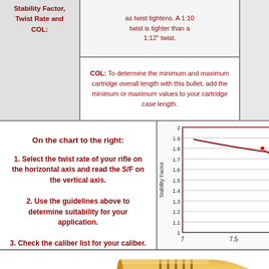Stability Factor, Twist Rate and COL:
as twist tightens. A 1:10 twist is tighter than a 1:12" twist.
COL: To determine the minimum and maximum cartridge overall length with this bullet, add the minimum or maximum values to your cartridge case length.
On the chart to the right:
1. Select the twist rate of your rifle on the horizontal axis and read the S/F on the vertical axis.
2. Use the guidelines above to determine suitability for your application.
3. Check the caliber list for your caliber.
[Figure (continuous-plot): Stability Factor vs Twist Rate line chart with y-axis from 1 to 2 (labeled 1, 1.1, 1.2, 1.3, 1.4, 1.5, 1.6, 1.7, 1.8, 1.9, 2) and x-axis showing 7, 7.5, 8. A downward-sloping curve is shown with a red arrow marker near 1.8.]
[Figure (illustration): Golden/yellow bullet illustration showing a rifle bullet with cannelure grooves on the case neck area, pointed tip, viewed from the side.]